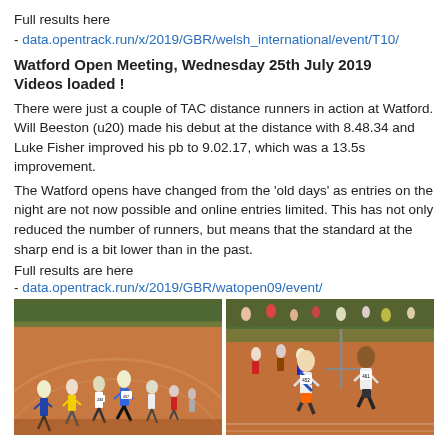Full results here
- data.opentrack.run/x/2019/GBR/welsh_international/event/T10/
Watford Open Meeting, Wednesday 25th July 2019
Videos loaded !
There were just a couple of TAC distance runners in action at Watford. Will Beeston (u20) made his debut at the distance with 8.48.34 and Luke Fisher improved his pb to 9.02.17, which was a 13.5s improvement.
The Watford opens have changed from the 'old days' as entries on the night are not now possible and online entries limited. This has not only reduced the number of runners, but means that the standard at the sharp end is a bit lower than in the past.
Full results are here
- data.opentrack.run/x/2019/GBR/watopen09/event/
[Figure (photo): Two side-by-side photos of runners on a track at the Watford Open Meeting. Left photo shows a group of runners at the start of a race. Right photo shows two runners in the foreground racing on the track.]